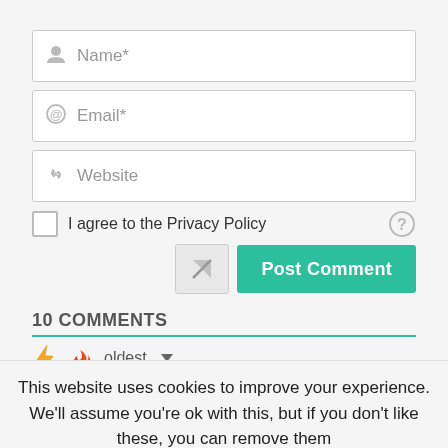[Figure (screenshot): Image icon top right corner]
Name*
Email*
Website
I agree to the Privacy Policy
Post Comment
10 COMMENTS
oldest
This website uses cookies to improve your experience. We'll assume you're ok with this, but if you don't like these, you can remove them
Accept